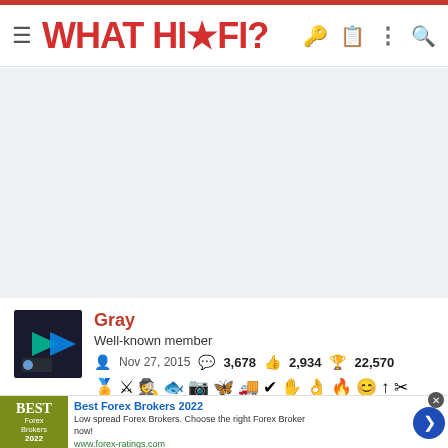WHAT HI-FI?
[Figure (other): Advertisement banner area (light blue-gray background, empty)]
[Figure (photo): User avatar thumbnail showing blue/green play button on dark background]
Gray
Well-known member
Nov 27, 2015   3,678   2,934   22,570
[Figure (other): Row of achievement/badge icons]
[Figure (other): Advertisement: Best Forex Brokers 2022 - Low spread Forex Brokers. Choose the right Forex Broker now! www.forex-ratings.com]